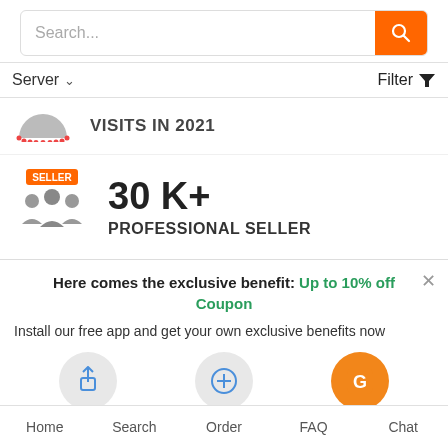[Figure (screenshot): Search bar with orange search button and magnifying glass icon]
Server  Filter
[Figure (infographic): Dotted half-circle icon with VISITS IN 2021 text]
VISITS IN 2021
[Figure (infographic): Seller icon with orange SELLER badge and 30 K+ PROFESSIONAL SELLER text]
30 K+ PROFESSIONAL SELLER
Here comes the exclusive benefit: Up to 10% off Coupon
Install our free app and get your own exclusive benefits now
[Figure (infographic): Three steps: 1.click share icon, 2.Add to home screen plus icon, Get coupon app icon]
Home  Search  Order  FAQ  Chat